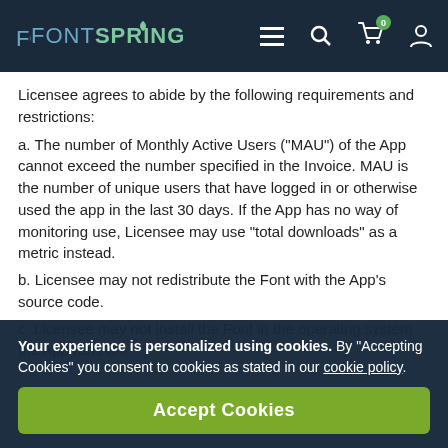FONTSPRING [navigation bar with menu, search, cart (0), account icons]
Licensee agrees to abide by the following requirements and restrictions:
a. The number of Monthly Active Users (“MAU”) of the App cannot exceed the number specified in the Invoice. MAU is the number of unique users that have logged in or otherwise used the app in the last 30 days. If the App has no way of monitoring use, Licensee may use “total downloads” as a metric instead.
b. Licensee may not redistribute the Font with the App’s source code.
c. Licensee may not install the Font in the operating system the App runs on.
Your experience is personalized using cookies. By “Accepting Cookies” you consent to cookies as stated in our cookie policy.
Accept Cookies